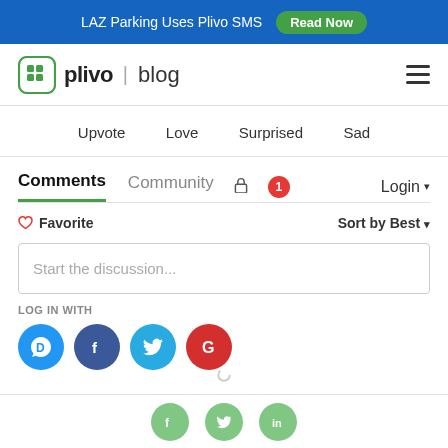LAZ Parking Uses Plivo SMS  Read Now
[Figure (logo): Plivo blog logo with green cloud icon]
Upvote   Love   Surprised   Sad
Comments  Community  🔒  1  Login ▾
♡ Favorite   Sort by Best ▾
Start the discussion...
LOG IN WITH
[Figure (infographic): Social login icons: Disqus (D), Facebook (f), Twitter bird, Google (G)]
[Figure (infographic): Bottom share icons: Facebook (f), Twitter bird, LinkedIn (in) in green circles]